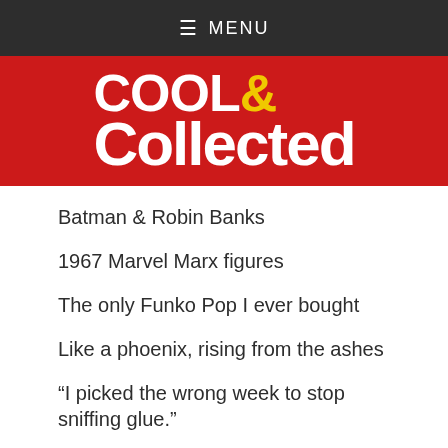≡ MENU
[Figure (logo): Cool & Collected logo — white bold text on red background]
Batman & Robin Banks
1967 Marvel Marx figures
The only Funko Pop I ever bought
Like a phoenix, rising from the ashes
“I picked the wrong week to stop sniffing glue.”
ABOUT COOL & COLLECTED